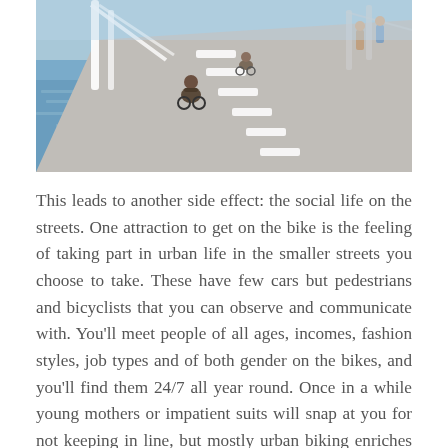[Figure (photo): Photo of cyclists riding on a wide bridge bike lane beside a river. Several people on bikes, sunny day, city infrastructure visible.]
This leads to another side effect: the social life on the streets. One attraction to get on the bike is the feeling of taking part in urban life in the smaller streets you choose to take. These have few cars but pedestrians and bicyclists that you can observe and communicate with. You'll meet people of all ages, incomes, fashion styles, job types and of both gender on the bikes, and you'll find them 24/7 all year round. Once in a while young mothers or impatient suits will snap at you for not keeping in line, but mostly urban biking enriches your day, and you learn what kind of small or large events that are taking place in your city: flea markets, street musicians, demonstrations, open street parties